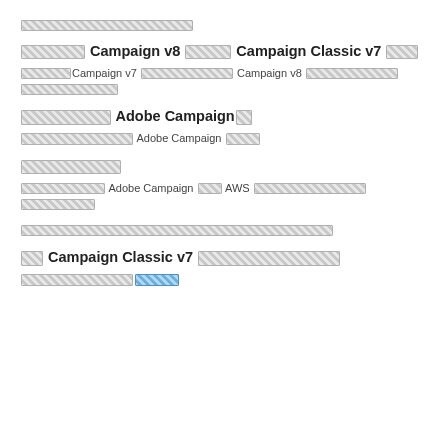[placeholder text]
[placeholder] Campaign v8 [placeholder] Campaign Classic v7 [placeholder]
[placeholder] Campaign v7 [placeholder] Campaign v8 [placeholder]
[placeholder] Adobe Campaign[placeholder]
[placeholder] Adobe Campaign [placeholder]
[placeholder]
[placeholder] Adobe Campaign [placeholder] AWS [placeholder]
[placeholder link text]
[placeholder] Campaign Classic v7 [placeholder]
[placeholder] [link placeholder]